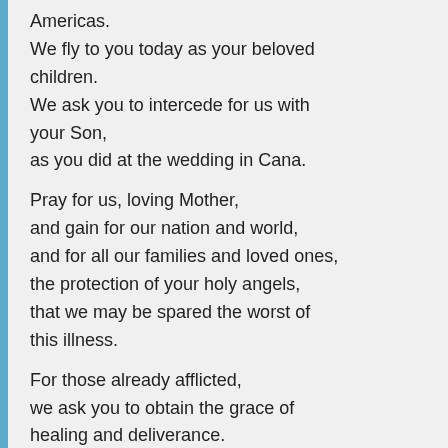Americas.
We fly to you today as your beloved children.
We ask you to intercede for us with your Son,
as you did at the wedding in Cana.

Pray for us, loving Mother,
and gain for our nation and world,
and for all our families and loved ones,
the protection of your holy angels,
that we may be spared the worst of this illness.

For those already afflicted,
we ask you to obtain the grace of healing and deliverance.
Hear the cries of those who are